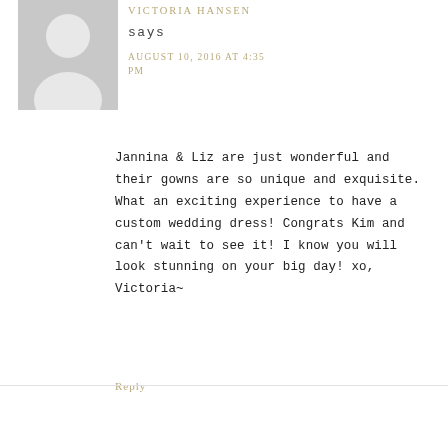[Figure (illustration): Default grey avatar silhouette placeholder image]
VICTORIA HANSEN
says
AUGUST 10, 2016 AT 4:35 PM
Jannina & Liz are just wonderful and their gowns are so unique and exquisite. What an exciting experience to have a custom wedding dress! Congrats Kim and can't wait to see it! I know you will look stunning on your big day! xo, Victoria~
Reply